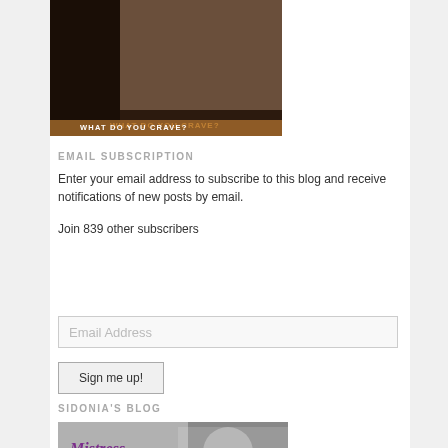[Figure (photo): Partial view of a dark-themed photo with text 'WHAT DO YOU CRAVE?' at the bottom]
EMAIL SUBSCRIPTION
Enter your email address to subscribe to this blog and receive notifications of new posts by email.
Join 839 other subscribers
[Figure (screenshot): Email Address input field placeholder]
[Figure (screenshot): Sign me up! button]
SIDONIA'S BLOG
[Figure (photo): Black and white photo with purple cursive text reading 'Mistress Sidonia's Blog']